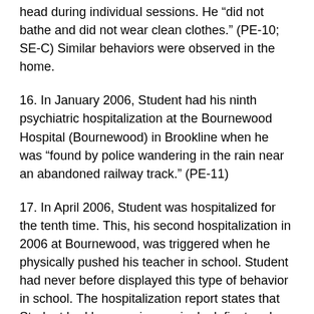head during individual sessions. He “did not bathe and did not wear clean clothes.” (PE-10; SE-C) Similar behaviors were observed in the home.
16. In January 2006, Student had his ninth psychiatric hospitalization at the Bournewood Hospital (Bournewood) in Brookline when he was “found by police wandering in the rain near an abandoned railway track.” (PE-11)
17. In April 2006, Student was hospitalized for the tenth time. This, his second hospitalization in 2006 at Bournewood, was triggered when he physically pushed his teacher in school. Student had never before displayed this type of behavior in school. The hospitalization report states that Student had become increasingly defiant and aggressive in school. School staff had expressed concern over Student’s ability to remain in the community given their concerns over Student’s safety. At home, he had also